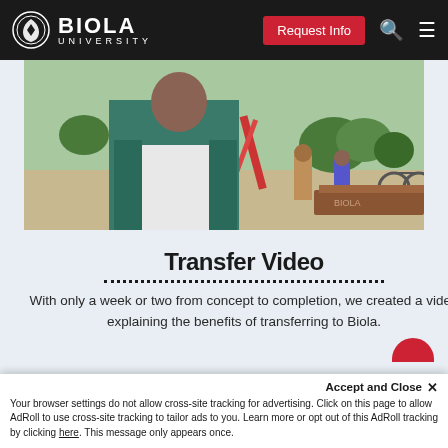[Figure (logo): Biola University logo and navigation bar with Request Info button, search icon, and hamburger menu]
[Figure (photo): A female student smiling on Biola University campus with other students walking in the background]
Transfer Video
With only a week or two from concept to completion, we created a video explaining the benefits of transferring to Biola.
Accept and Close ✕ Your browser settings do not allow cross-site tracking for advertising. Click on this page to allow AdRoll to use cross-site tracking to tailor ads to you. Learn more or opt out of this AdRoll tracking by clicking here. This message only appears once.